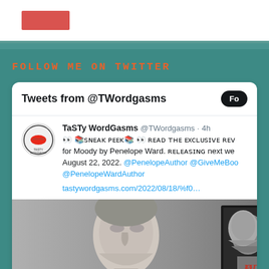[Figure (screenshot): Top bar with red rectangle element]
FOLLOW ME ON TWITTER
[Figure (screenshot): Twitter widget showing tweets from @TWordgasms. Tweet by TaSTy WordGasms @TWordgasms 4h: 👀 📚SNEAK PEK📚 👀 Read THE Exclusive Review for Moody by Penelope Ward. RELEASING next week August 22, 2022. @PenelopeAuthor @GiveMeBooks @PenelopeWardAuthor tastywordgasms.com/2022/08/18/%f0... with a black and white photo of a man looking up and a book cover for Moody.]